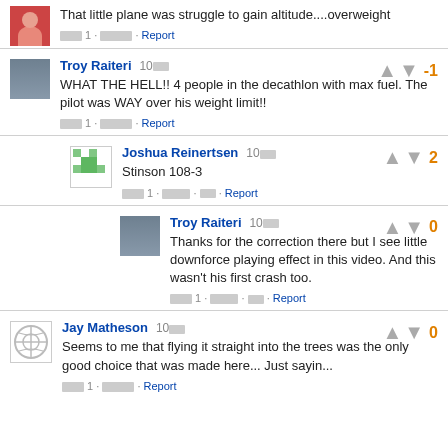That little plane was struggle to gain altitude....overweight
Reply 1 · Share · Report
Troy Raiteri 10[timestamp] WHAT THE HELL!! 4 people in the decathlon with max fuel. The pilot was WAY over his weight limit!! Vote: -1
Reply 1 · Share · Report
Joshua Reinertsen 10[timestamp] Stinson 108-3 Vote: 2
Reply 1 · Share · [flag] · Report
Troy Raiteri 10[timestamp] Thanks for the correction there but I see little downforce playing effect in this video. And this wasn't his first crash too. Vote: 0
Reply 1 · Share · [flag] · Report
Jay Matheson 10[timestamp] Seems to me that flying it straight into the trees was the only good choice that was made here... Just sayin... Vote: 0
Reply 1 · Share · Report